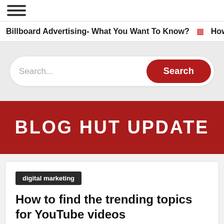☰
Billboard Advertising- What You Want To Know? | How 9 Th…
[Figure (other): Search bar with placeholder text 'Search...' and a red Search button]
BLOG HUT UPDATE
digital marketing
How to find the trending topics for YouTube videos